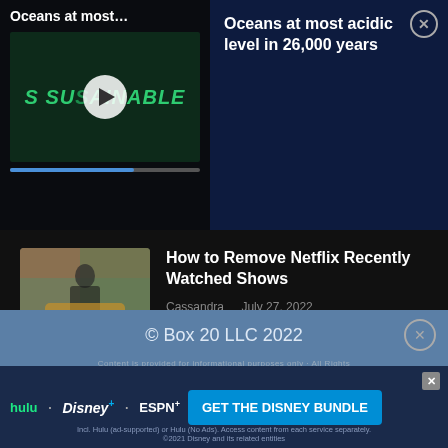Oceans at most...
Oceans at most acidic level in 26,000 years
[Figure (screenshot): Video thumbnail with Sustainable logo and play button]
How to Remove Netflix Recently Watched Shows
Cassandra   July 27, 2022
How to Use a VPN with an Android Device
Lee Stanton   August 3, 2022
© Box 20 LLC 2022
Incl. Hulu (ad-supported) or Hulu (No Ads). Access content from each service separately. ©2021 Disney and its related entities